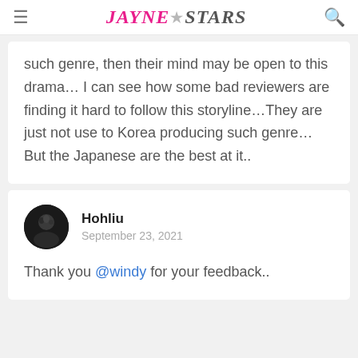JAYNE★STARS
such genre, then their mind may be open to this drama... I can see how some bad reviewers are finding it hard to follow this storyline...They are just not use to Korea producing such genre... But the Japanese are the best at it..
Hohliu
September 23, 2021

Thank you @windy for your feedback..